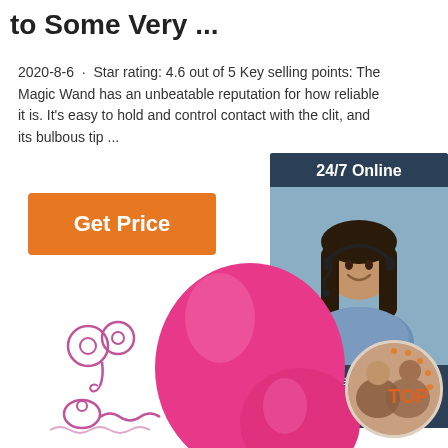to Some Very ...
2020-8-6 · Star rating: 4.6 out of 5 Key selling points: The Magic Wand has an unbeatable reputation for how reliable it is. It's easy to hold and control contact with the clit, and its bulbous tip ...
[Figure (other): Orange 'Get Price' button]
[Figure (other): 24/7 Online customer service sidebar with photo of woman with headset, 'Click here for free chat!' text, and orange QUOTATION button]
[Figure (illustration): Small line drawing icons of adult toy product shapes]
[Figure (photo): Pink egg-shaped adult toy product photo]
[Figure (photo): Circular TOP badge with couple photo]